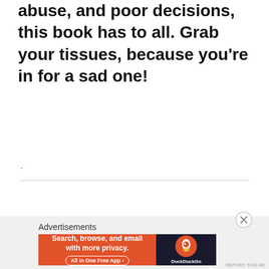abuse, and poor decisions, this book has to all. Grab your tissues, because you're in for a sad one!
.
Advertisements
[Figure (screenshot): DuckDuckGo advertisement banner: 'Search, browse, and email with more privacy. All in One Free App' on orange background with DuckDuckGo duck logo on dark background]
[Figure (other): Close/dismiss button (X circle icon)]
REPORT THIS AD